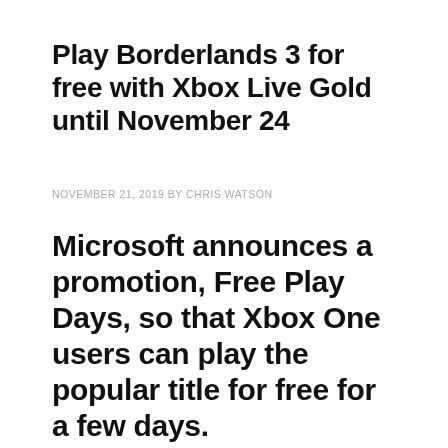Play Borderlands 3 for free with Xbox Live Gold until November 24
NOVEMBER 21, 2019 BY CHRIS WATSON
Microsoft announces a promotion, Free Play Days, so that Xbox One users can play the popular title for free for a few days.